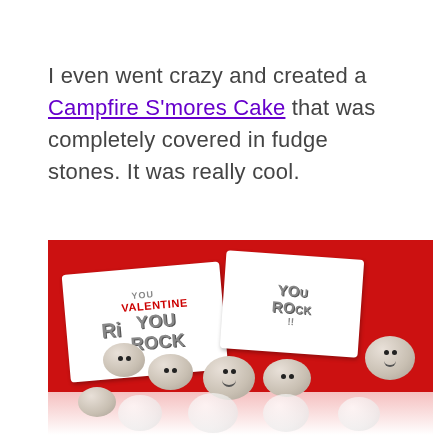I even went crazy and created a Campfire S'mores Cake that was completely covered in fudge stones. It was really cool.
[Figure (photo): Photo of Valentine's Day treat bags with cartoon rock candy characters that have googly eyes and smiley faces. Cards read 'VALENTINE YOU ROCK!!' in bold lettering. Bags filled with speckled rock-shaped candies with smiley faces, set on a red background.]